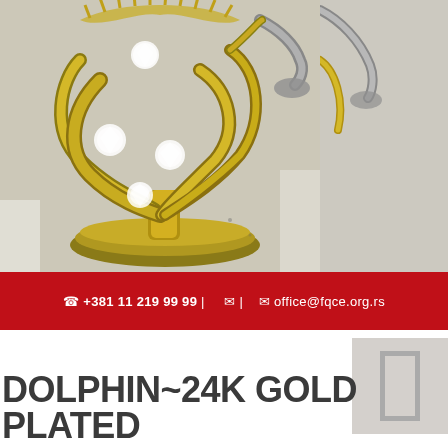[Figure (photo): Close-up photo of a gold-plated angel figurine with crystal/gemstone decorations on a circular base, photographed against a light background]
☎ +381 11 219 99 99 |  ✉ |  ✉ office@fqce.org.rs
DOLPHIN~24K GOLD PLATED